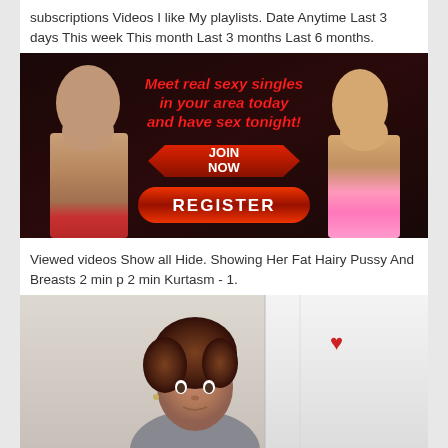subscriptions Videos I like My playlists. Date Anytime Last 3 days This week This month Last 3 months Last 6 months.
[Figure (illustration): Adult dating advertisement banner showing two women in swimwear on either side of red bold text 'Meet real sexy singles in your area today and have sex tonight!' with a red arrow-shaped JOIN NOW button and a red pill-shaped REGISTER button.]
Viewed videos Show all Hide. Showing Her Fat Hairy Pussy And Breasts 2 min p 2 min Kurtasm - 1.
[Figure (photo): Photo of a woman with short brown hair looking at the camera, standing in front of a white refrigerator with a small red heart decoration.]